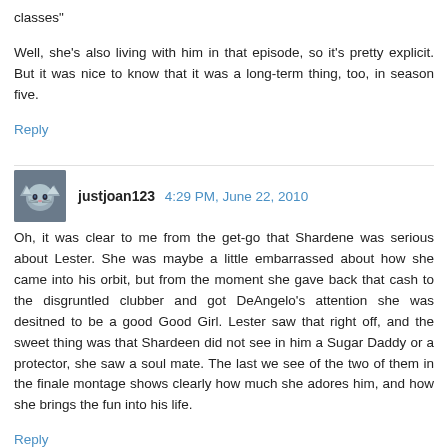classes"
Well, she's also living with him in that episode, so it's pretty explicit. But it was nice to know that it was a long-term thing, too, in season five.
Reply
justjoan123  4:29 PM, June 22, 2010
Oh, it was clear to me from the get-go that Shardene was serious about Lester. She was maybe a little embarrassed about how she came into his orbit, but from the moment she gave back that cash to the disgruntled clubber and got DeAngelo's attention she was desitned to be a good Good Girl. Lester saw that right off, and the sweet thing was that Shardeen did not see in him a Sugar Daddy or a protector, she saw a soul mate. The last we see of the two of them in the finale montage shows clearly how much she adores him, and how she brings the fun into his life.
Reply